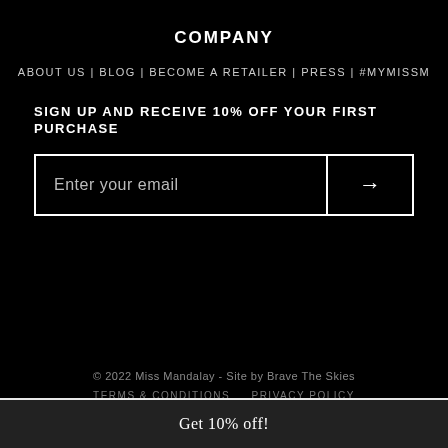COMPANY
ABOUT US | BLOG | BECOME A RETAILER | PRESS | #MYMISSM
SIGN UP AND RECEIVE 10% OFF YOUR FIRST PURCHASE
Enter your email →
© 2022 Miss Mandalay - Site by Brave The Skies
TERMS & CONDITIONS   PRIVACY POLICY
Get 10% off!